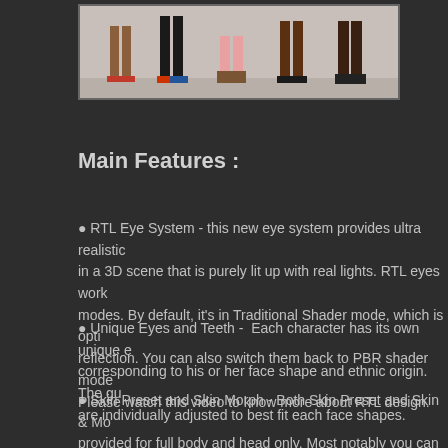[Figure (photo): Photo showing the lower bodies (legs and feet) of multiple people standing side by side against a light background, showing various footwear styles.]
Main Features :
RTL Eye System - this new eye system provides ultra realistic in a 3D scene that is purely lit up with real lights. RTL eyes work modes. By default, it's in Traditional Shader mode, which is opti reflection. You can also switch them back to PBR shader mode Please watch this video to know more about RTL design.
Unique Eyes and Teeth -  Each character has its own unique e corresponding to his or her face shape and ethnic origin. The gu are individually adjusted to best fit each face shapes.
Skin Preset and Skin Morph - Both Skin Preset and Skin & Mo provided for full body and head only. Most notably you can use t to switch avatars' head, so that the body skin color can naturally skin change.